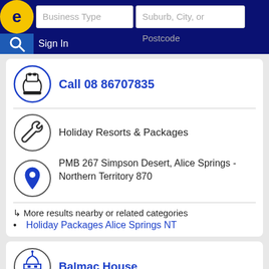Business Type | Suburb, City, or Postcode | Sign In
Call 08 86707835
Holiday Resorts & Packages
PMB 267 Simpson Desert, Alice Springs - Northern Territory 870
↳ More results nearby or related categories
Holiday Packages Alice Springs NT
Balmac House